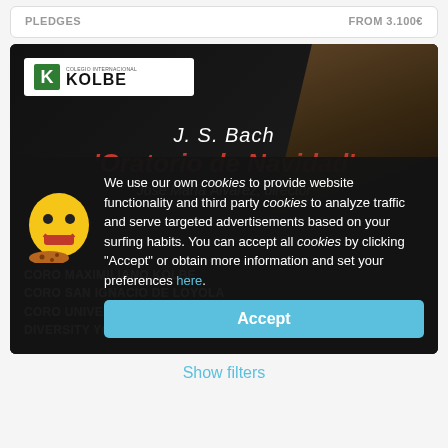PLEDGES    FROM 3.100€
[Figure (illustration): Event banner for J.S. Bach 'Oratorio de Navidad' concert with Kolbe logo, dark background with wooden chair/nativity props, listing choirs: Coro Maximiliano Kolbe, Coro San Ignacio de Loyola, Coro Universidad CEU San Pablo, Diversity Youth Choir. Director: José María Álvarez.]
We use our own cookies to provide website functionality and third party cookies to analyze traffic and serve targeted advertisements based on your surfing habits. You can accept all cookies by clicking "Accept" or obtain more information and set your preferences here.
Accept
Show filters